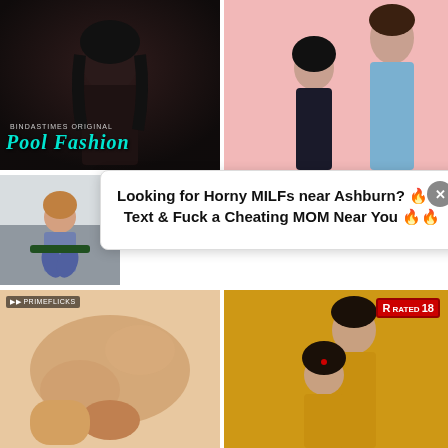[Figure (photo): Dark toned image of a woman with Pool Fashion text overlay, labeled as a streaming original]
[Figure (photo): Pink background image of a young woman and a man in a blue shirt looking at each other]
[Figure (photo): Small photo of a woman sitting outdoors]
Looking for Horny MILFs near Ashburn? 🔥🔥
Text & Fuck a Cheating MOM Near You 🔥🔥
[Figure (photo): Close-up intimate photo]
[Figure (photo): Man and woman in yellow, R Rated 18 badge in corner]